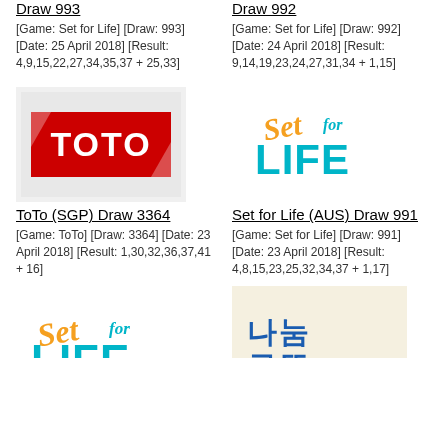Draw 993
[Game: Set for Life] [Draw: 993] [Date: 25 April 2018] [Result: 4,9,15,22,27,34,35,37 + 25,33]
Draw 992
[Game: Set for Life] [Draw: 992] [Date: 24 April 2018] [Result: 9,14,19,23,24,27,31,34 + 1,15]
[Figure (logo): TOTO logo - red and white diagonal stripes with TOTO text]
ToTo (SGP) Draw 3364
[Game: ToTo] [Draw: 3364] [Date: 23 April 2018] [Result: 1,30,32,36,37,41 + 16]
[Figure (logo): Set for Life (AUS) logo - teal and yellow stylized text]
Set for Life (AUS) Draw 991
[Game: Set for Life] [Draw: 991] [Date: 23 April 2018] [Result: 4,8,15,23,25,32,34,37 + 1,17]
[Figure (logo): Set for Life logo (partial, bottom of page)]
[Figure (logo): Korean lottery logo (partial, bottom of page)]